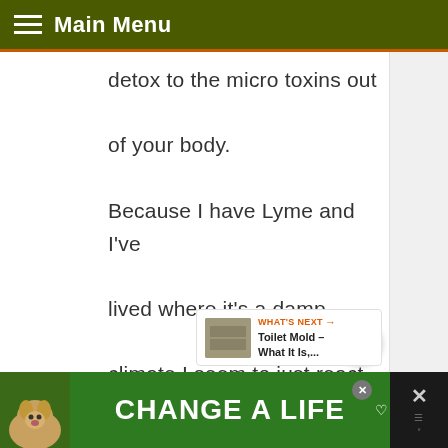Main Menu
detox to the micro toxins out of your body.
Because I have Lyme and I've lived where it's a damp climate I seem to just react to anything.
I have very weird things happening in my body and
[Figure (screenshot): Share button (circular white button with share icon)]
[Figure (screenshot): What's Next widget showing 'Toilet Mold – What It Is,...' with thumbnail image]
[Figure (screenshot): Advertisement banner: green background with dog image and text 'CHANGE A LIFE']